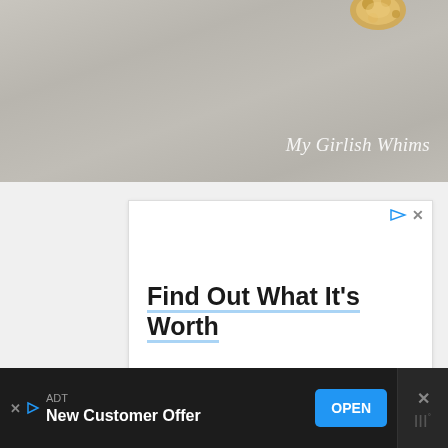[Figure (photo): Top banner showing close-up of gold jewelry/pearls on gray fabric background with 'My Girlish Whims' watermark in italic script]
[Figure (screenshot): Advertisement box: 'Find Out What It's Worth' headline with blue underline, body text 'Share photos & info w/ genuine appraisers to get an accurate value online anytime.', brand 'JustAnswer', blue Open button, Moat verification icon]
[Figure (screenshot): Bottom dark banner advertisement for ADT: 'New Customer Offer' with blue OPEN button and close/ad icons]